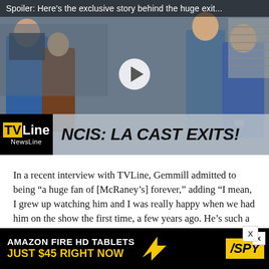[Figure (screenshot): TVLine video thumbnail showing NCIS LA cast with play button overlay. Text overlay at top reads 'Spoiler: Here's the exclusive story behind the huge exit...' Bottom bar shows TVLine NewsLine logo and headline 'NCIS: LA CAST EXITS!']
In a recent interview with TVLine, Gemmill admitted to being “a huge fan of [McRaney’s] forever,” adding “I mean, I grew up watching him and I was really happy when we had him on the show the first time, a few years ago. He’s such a pro and so cool, he raises everybody’s game.
“He’s so great because he can do comedy, and he can d
[Figure (screenshot): Advertisement banner for Amazon Fire HD Tablets: 'AMAZON FIRE HD TABLETS JUST $45 RIGHT NOW' with SPY logo on yellow background]